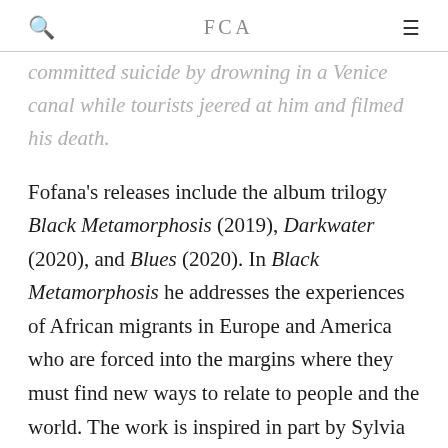FCA
committed suicide by drowning in a Venice canal while tourists jeered at him and filmed his death.
Fofana's releases include the album trilogy Black Metamorphosis (2019), Darkwater (2020), and Blues (2020). In Black Metamorphosis he addresses the experiences of African migrants in Europe and America who are forced into the margins where they must find new ways to relate to people and the world. The work is inspired in part by Sylvia Wynter's unpublished manuscript from the 1970s of the same name.